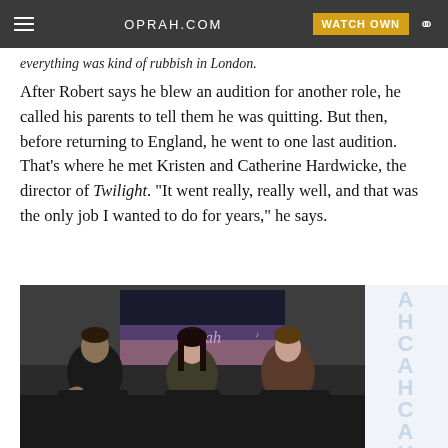OPRAH.COM | WATCH OWN
everything was kind of rubbish in London.
After Robert says he blew an audition for another role, he called his parents to tell them he was quitting. But then, before returning to England, he went to one last audition. That's where he met Kristen and Catherine Hardwicke, the director of Twilight. "It went really, really well, and that was the only job I wanted to do for years," he says.
[Figure (photo): Three young people seated on chairs in front of an Oprah TV backdrop. Left: young man in dark jacket gesturing with hands. Center: young woman in dark top with arms crossed. Right: young man in dark shirt looking toward center.]